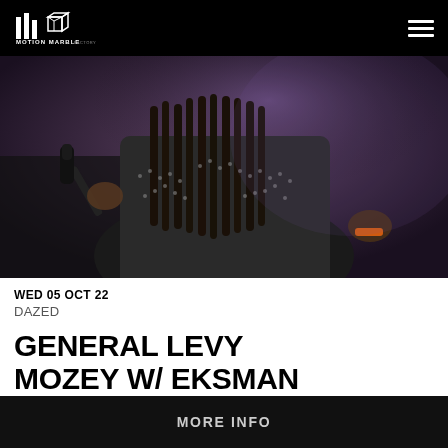MOTION MARBLE
[Figure (photo): Performer on stage holding a microphone, wearing a patterned studded outfit with long dreadlocks, photographed from behind/side in dark dramatic lighting]
WED 05 OCT 22
DAZED
GENERAL LEVY MOZEY W/ EKSMAN WHINEY
MORE INFO